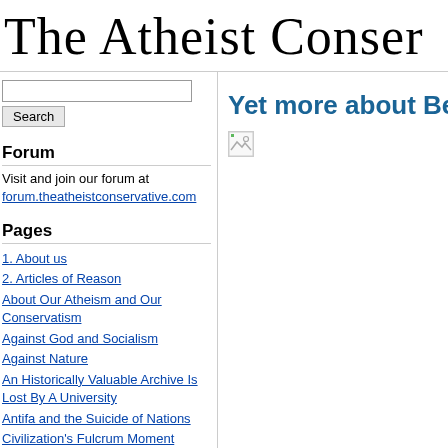The Atheist Conser
Forum
Visit and join our forum at forum.theatheistconservative.com
Pages
1. About us
2. Articles of Reason
About Our Atheism and Our Conservatism
Against God and Socialism
Against Nature
An Historically Valuable Archive Is Lost By A University
Antifa and the Suicide of Nations
Civilization's Fulcrum Moment
Communism is Secular Christianity
End of an Era
Enlightenment, Atheism, Reason, and the Humanist Left
Yet more about Bengha
[Figure (photo): Broken/missing image placeholder]